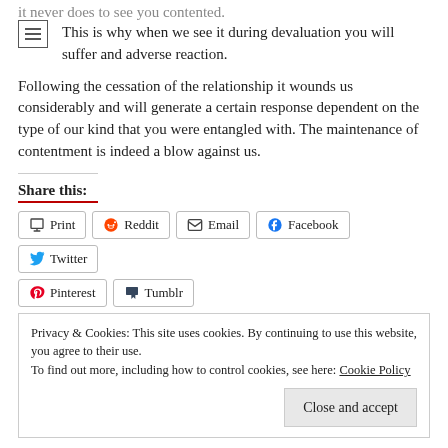it never does to see you contented.
This is why when we see it during devaluation you will suffer and adverse reaction.
Following the cessation of the relationship it wounds us considerably and will generate a certain response dependent on the type of our kind that you were entangled with. The maintenance of contentment is indeed a blow against us.
Share this:
Print  Reddit  Email  Facebook  Twitter  Pinterest  Tumblr
Privacy & Cookies: This site uses cookies. By continuing to use this website, you agree to their use.
To find out more, including how to control cookies, see here: Cookie Policy
Close and accept